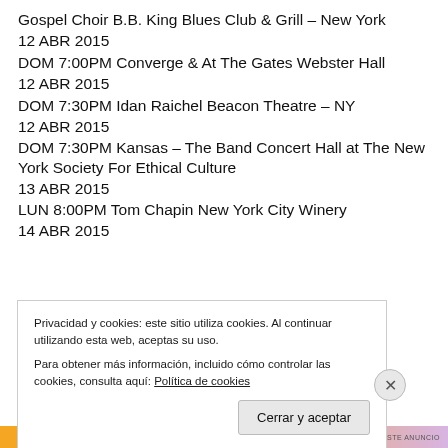Gospel Choir B.B. King Blues Club & Grill – New York
12 ABR 2015
DOM 7:00PM Converge & At The Gates Webster Hall
12 ABR 2015
DOM 7:30PM Idan Raichel Beacon Theatre – NY
12 ABR 2015
DOM 7:30PM Kansas – The Band Concert Hall at The New York Society For Ethical Culture
13 ABR 2015
LUN 8:00PM Tom Chapin New York City Winery
14 ABR 2015
Privacidad y cookies: este sitio utiliza cookies. Al continuar utilizando esta web, aceptas su uso.
Para obtener más información, incluido cómo controlar las cookies, consulta aquí: Política de cookies
Cerrar y aceptar